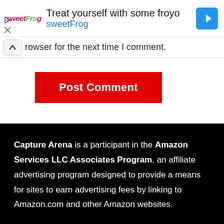[Figure (screenshot): SweetFrog advertisement banner with logo, headline 'Treat yourself with some froyo', subtext 'sweetFrog', and a blue navigation diamond icon. Play and close controls on the left.]
browser for the next time I comment.
Post Comment
Capture Arena is a participant in the Amazon Services LLC Associates Program, an affiliate advertising program designed to provide a means for sites to earn advertising fees by linking to Amazon.com and other Amazon websites.